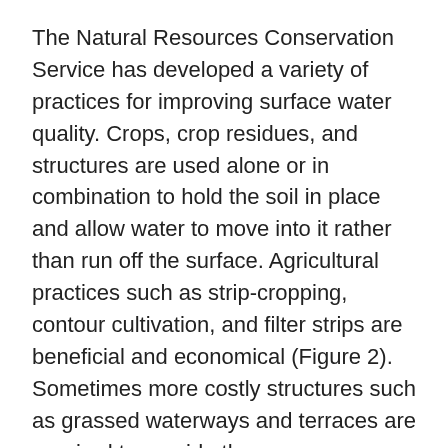The Natural Resources Conservation Service has developed a variety of practices for improving surface water quality. Crops, crop residues, and structures are used alone or in combination to hold the soil in place and allow water to move into it rather than run off the surface. Agricultural practices such as strip-cropping, contour cultivation, and filter strips are beneficial and economical (Figure 2). Sometimes more costly structures such as grassed waterways and terraces are required to provide the necessary control. Conservation tillage, which reduces soil disturbance and preserves the soil cover with plant residues, is another effective way to reduce erosion.
Various conservation practices enhance surface water quality by controlling erosion. Some of these practices, such as riparian buffers, have little effect on groundwater, whereas other practices have antagonistic effects, such as conservation tillage, which decreases phosphorus losses by preventing erosion but can increase nitrogen leaching.